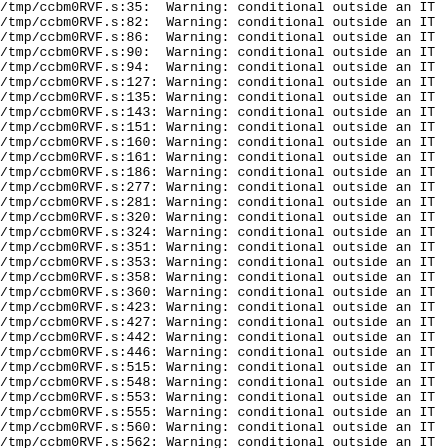/tmp/ccbm0RVF.s:35: Warning: conditional outside an IT
/tmp/ccbm0RVF.s:82: Warning: conditional outside an IT
/tmp/ccbm0RVF.s:86: Warning: conditional outside an IT
/tmp/ccbm0RVF.s:90: Warning: conditional outside an IT
/tmp/ccbm0RVF.s:94: Warning: conditional outside an IT
/tmp/ccbm0RVF.s:127: Warning: conditional outside an IT
/tmp/ccbm0RVF.s:135: Warning: conditional outside an IT
/tmp/ccbm0RVF.s:143: Warning: conditional outside an IT
/tmp/ccbm0RVF.s:151: Warning: conditional outside an IT
/tmp/ccbm0RVF.s:160: Warning: conditional outside an IT
/tmp/ccbm0RVF.s:161: Warning: conditional outside an IT
/tmp/ccbm0RVF.s:186: Warning: conditional outside an IT
/tmp/ccbm0RVF.s:277: Warning: conditional outside an IT
/tmp/ccbm0RVF.s:281: Warning: conditional outside an IT
/tmp/ccbm0RVF.s:320: Warning: conditional outside an IT
/tmp/ccbm0RVF.s:324: Warning: conditional outside an IT
/tmp/ccbm0RVF.s:351: Warning: conditional outside an IT
/tmp/ccbm0RVF.s:353: Warning: conditional outside an IT
/tmp/ccbm0RVF.s:358: Warning: conditional outside an IT
/tmp/ccbm0RVF.s:360: Warning: conditional outside an IT
/tmp/ccbm0RVF.s:423: Warning: conditional outside an IT
/tmp/ccbm0RVF.s:427: Warning: conditional outside an IT
/tmp/ccbm0RVF.s:442: Warning: conditional outside an IT
/tmp/ccbm0RVF.s:446: Warning: conditional outside an IT
/tmp/ccbm0RVF.s:515: Warning: conditional outside an IT
/tmp/ccbm0RVF.s:548: Warning: conditional outside an IT
/tmp/ccbm0RVF.s:553: Warning: conditional outside an IT
/tmp/ccbm0RVF.s:555: Warning: conditional outside an IT
/tmp/ccbm0RVF.s:560: Warning: conditional outside an IT
/tmp/ccbm0RVF.s:562: Warning: conditional outside an IT